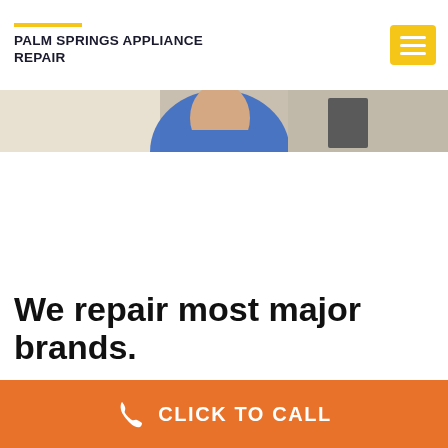PALM SPRINGS APPLIANCE REPAIR
[Figure (photo): Partial photo of a technician/repair person, cropped at the top, showing head/shoulders against a light background with appliance elements visible]
We repair most major brands.
CLICK TO CALL